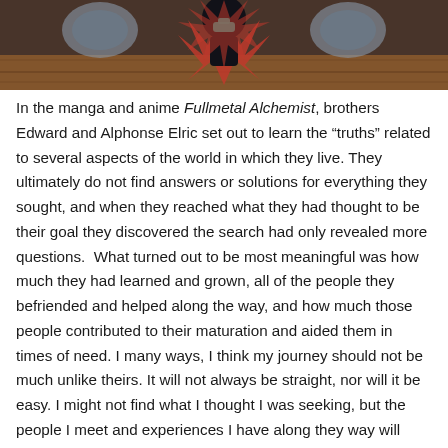[Figure (illustration): Screenshot from the Fullmetal Alchemist anime showing a character (likely Edward or Alphonse Elric) viewed from below, with mechanical/alchemical star/gear shapes in red and grey visible in the background and a wooden floor texture.]
In the manga and anime Fullmetal Alchemist, brothers Edward and Alphonse Elric set out to learn the “truths” related to several aspects of the world in which they live. They ultimately do not find answers or solutions for everything they sought, and when they reached what they had thought to be their goal they discovered the search had only revealed more questions.  What turned out to be most meaningful was how much they had learned and grown, all of the people they befriended and helped along the way, and how much those people contributed to their maturation and aided them in times of need. I many ways, I think my journey should not be much unlike theirs. It will not always be straight, nor will it be easy. I might not find what I thought I was seeking, but the people I meet and experiences I have along they way will ensure that I am never at a loss for ideas about where to go and what to try next.